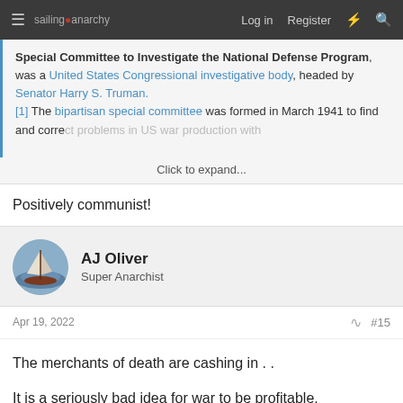sailing anarchy — Log in  Register
Special Committee to Investigate the National Defense Program, was a United States Congressional investigative body, headed by Senator Harry S. Truman. [1] The bipartisan special committee was formed in March 1941 to find and correct problems in US war production with
Click to expand...
Positively communist!
AJ Oliver
Super Anarchist
Apr 19, 2022
#15
The merchants of death are cashing in . .
It is a seriously bad idea for war to be profitable.